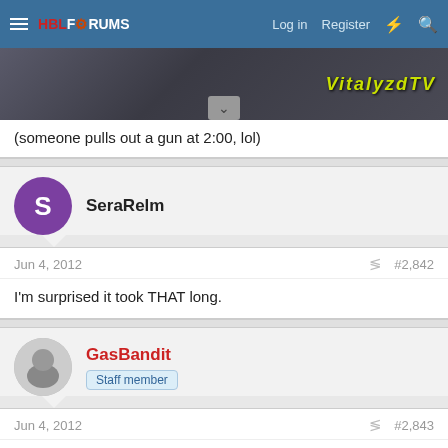HBL FORUMS  Log in  Register
[Figure (screenshot): Video thumbnail banner with VitalyzdTV text overlaid in yellow-green, with a dark chevron/dropdown button at bottom center]
(someone pulls out a gun at 2:00, lol)
SeraRelm
Jun 4, 2012  #2,842
I'm surprised it took THAT long.
GasBandit  Staff member
Jun 4, 2012  #2,843
Poker Face, entirely on bottles.